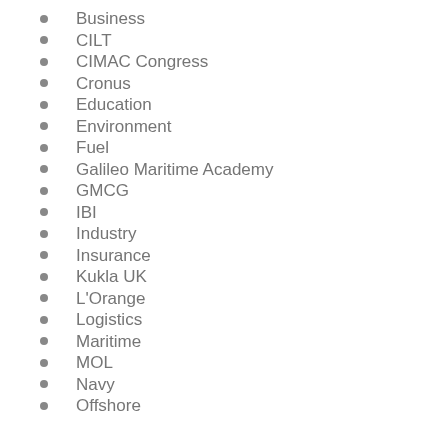Business
CILT
CIMAC Congress
Cronus
Education
Environment
Fuel
Galileo Maritime Academy
GMCG
IBI
Industry
Insurance
Kukla UK
L'Orange
Logistics
Maritime
MOL
Navy
Offshore